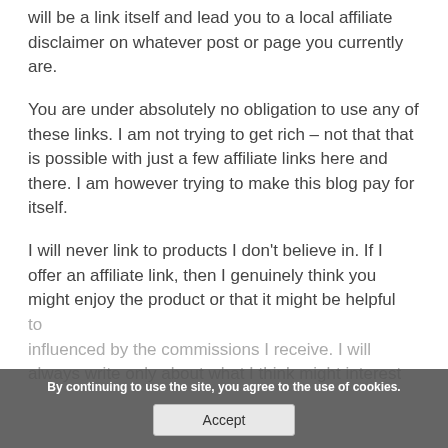will be a link itself and lead you to a local affiliate disclaimer on whatever post or page you currently are.
You are under absolutely no obligation to use any of these links. I am not trying to get rich – not that that is possible with just a few affiliate links here and there. I am however trying to make this blog pay for itself.
I will never link to products I don't believe in. If I offer an affiliate link, then I genuinely think you might enjoy the product or that it might be helpful to [faded] influenced by the commissions I receive. I will always write only about what I think might interest
By continuing to use the site, you agree to the use of cookies. Accept